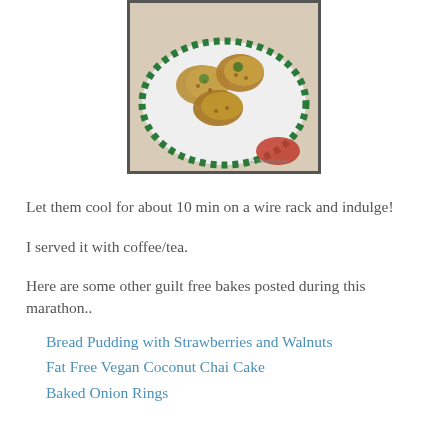[Figure (photo): Photo of oat/grain cookies with green toppings on a white plate with green checkered border and red accent]
Let them cool for about 10 min on a wire rack and indulge!
I served it with coffee/tea.
Here are some other guilt free bakes posted during this marathon..
Bread Pudding with Strawberries and Walnuts
Fat Free Vegan Coconut Chai Cake
Baked Onion Rings